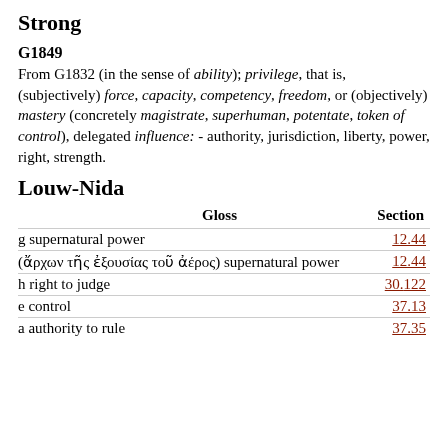Strong
G1849
From G1832 (in the sense of ability); privilege, that is, (subjectively) force, capacity, competency, freedom, or (objectively) mastery (concretely magistrate, superhuman, potentate, token of control), delegated influence: - authority, jurisdiction, liberty, power, right, strength.
Louw-Nida
| Gloss | Section |
| --- | --- |
| g supernatural power | 12.44 |
| (ἄρχων τῆς ἐξουσίας τοῦ ἀέρος) supernatural power | 12.44 |
| h right to judge | 30.122 |
| e control | 37.13 |
| a authority to rule | 37.35 |